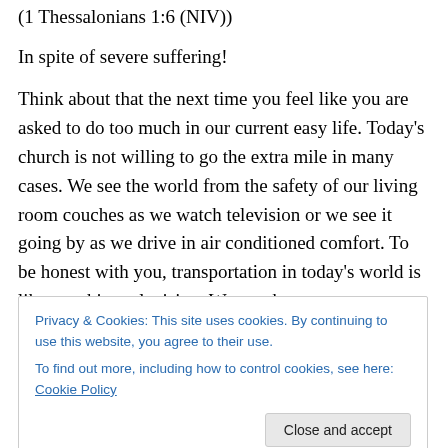(1 Thessalonians 1:6 (NIV))
In spite of severe suffering!
Think about that the next time you feel like you are asked to do too much in our current easy life. Today's church is not willing to go the extra mile in many cases. We see the world from the safety of our living room couches as we watch television or we see it going by as we drive in air conditioned comfort. To be honest with you, transportation in today's world is like watching television. We see the
Privacy & Cookies: This site uses cookies. By continuing to use this website, you agree to their use.
To find out more, including how to control cookies, see here: Cookie Policy
even in severe suffering? Are we ready and willing to face